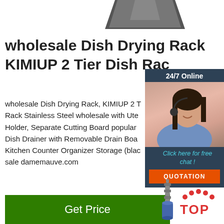[Figure (photo): Partial product image at top of page, dark colored dish rack]
wholesale Dish Drying Rack KIMIUP 2 Tier Dish Rack
wholesale Dish Drying Rack, KIMIUP 2 Tier Dish Rack Stainless Steel wholesale with Utensil Holder, Separate Cutting Board popular Dish Drainer with Removable Drain Board Kitchen Counter Organizer Storage (black) sale damemauve.com
[Figure (photo): Customer service representative with headset, 24/7 online chat widget with quotation button]
[Figure (photo): Button: Get Price (green)]
[Figure (photo): Bottom partial product image showing chain mechanism]
[Figure (logo): TOP button with red dots icon]